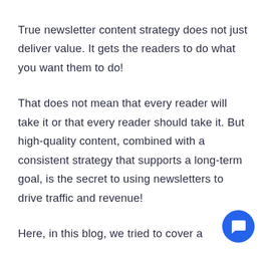True newsletter content strategy does not just deliver value. It gets the readers to do what you want them to do!
That does not mean that every reader will take it or that every reader should take it. But high-quality content, combined with a consistent strategy that supports a long-term goal, is the secret to using newsletters to drive traffic and revenue!
Here, in this blog, we tried to cover a
[Figure (illustration): Blue circular chat/message button icon in the bottom-right corner]